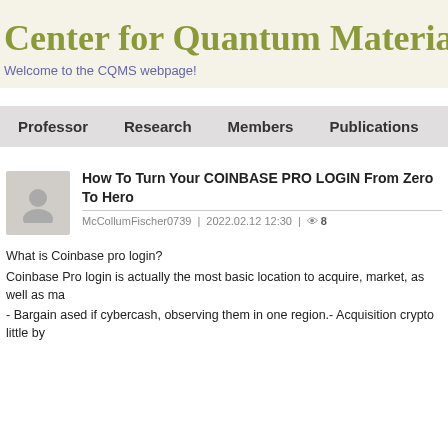Center for Quantum Materials
Welcome to the CQMS webpage!
Professor | Research | Members | Publications | Links
How To Turn Your COINBASE PRO LOGIN From Zero To Hero
McCollumFischer0739 | 2022.02.12 12:30 | 8
What is Coinbase pro login?
Coinbase Pro login is actually the most basic location to acquire, market, as well as ma
- Bargain ased if cybercash, observing them in one region.- Acquisition crypto little by